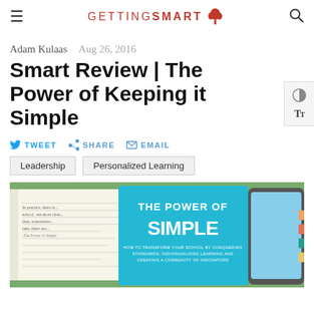GETTING SMART
Adam Kulaas   Aug 26, 2016
Smart Review | The Power of Keeping it Simple
TWEET   SHARE   EMAIL
Leadership   Personalized Learning
[Figure (photo): Photo of 'The Power of Simple' book cover (blue) beside an open notebook with handwriting, lying on grass]